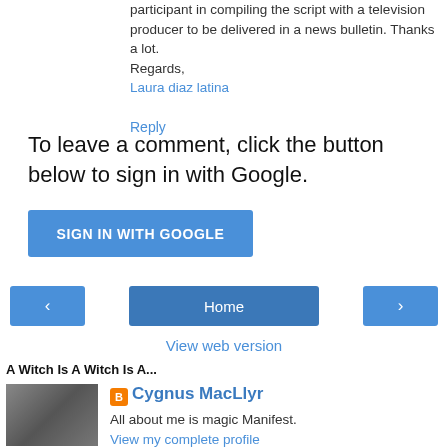participant in compiling the script with a television producer to be delivered in a news bulletin. Thanks a lot.
Regards,
Laura diaz latina
Reply
To leave a comment, click the button below to sign in with Google.
[Figure (other): SIGN IN WITH GOOGLE button (blue)]
[Figure (other): Navigation bar with left arrow, Home button, right arrow]
View web version
A Witch Is A Witch Is A...
[Figure (photo): Profile photo of a person]
Cygnus MacLlyr
All about me is magic Manifest.
View my complete profile